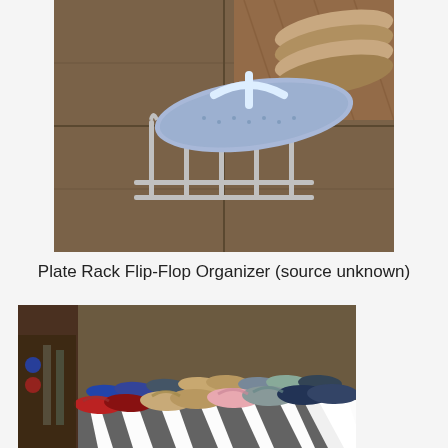[Figure (photo): A plate rack being used as a flip-flop organizer on a tiled floor. A blue flip-flop is resting on the metal wire rack, with other sandals visible in the background on a wooden surface.]
Plate Rack Flip-Flop Organizer (source unknown)
[Figure (photo): A collection of flip-flops and sandals organized in rows inside what appears to be a drawer or bin lined with a black and white patterned fabric. Multiple pairs in various colors including blue, red, tan, gray, and pink are visible.]